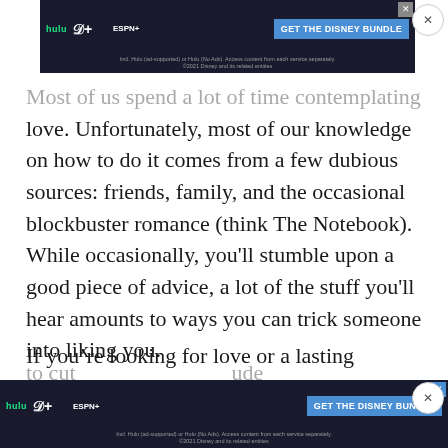[Figure (screenshot): Disney Bundle advertisement banner at top showing Hulu, Disney+, ESPN+ logos with 'GET THE DISNEY BUNDLE' CTA button on dark background]
Most of us spend a lot of time contemplating love. Unfortunately, most of our knowledge on how to do it comes from a few dubious sources: friends, family, and the occasional blockbuster romance (think The Notebook). While occasionally, you'll stumble upon a good piece of advice, a lot of the stuff you'll hear amounts to ways you can trick someone into liking you.
If you're looking for love or a lasting romantic connection, tricks and deception aren't going to cut it... guide
[Figure (screenshot): Disney Bundle advertisement banner at bottom showing Hulu, Disney+, ESPN+ logos with 'GET THE DISNEY BUNDLE' CTA button on dark background]